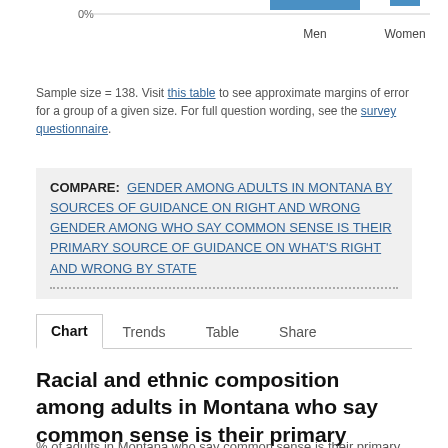[Figure (bar-chart): Partial bar chart showing Men and Women bars at top of page, with 0% axis label visible]
Sample size = 138. Visit this table to see approximate margins of error for a group of a given size. For full question wording, see the survey questionnaire.
COMPARE: GENDER AMONG ADULTS IN MONTANA BY SOURCES OF GUIDANCE ON RIGHT AND WRONG    GENDER AMONG WHO SAY COMMON SENSE IS THEIR PRIMARY SOURCE OF GUIDANCE ON WHAT'S RIGHT AND WRONG BY STATE
Chart   Trends   Table   Share
Racial and ethnic composition among adults in Montana who say common sense is their primary source of guidance on what's right and wrong
% of adults in Montana who say common sense is their primary